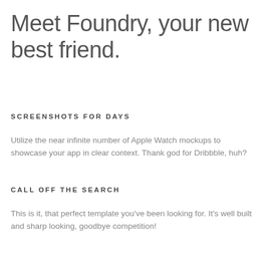Meet Foundry, your new best friend.
SCREENSHOTS FOR DAYS
Utilize the near infinite number of Apple Watch mockups to showcase your app in clear context. Thank god for Dribbble, huh?
CALL OFF THE SEARCH
This is it, that perfect template you've been looking for. It's well built and sharp looking, goodbye competition!